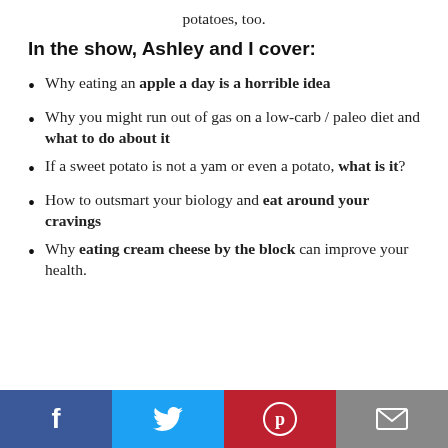potatoes, too.
In the show, Ashley and I cover:
Why eating an apple a day is a horrible idea
Why you might run out of gas on a low-carb / paleo diet and what to do about it
If a sweet potato is not a yam or even a potato, what is it?
How to outsmart your biology and eat around your cravings
Why eating cream cheese by the block can improve your health.
Social share buttons: Facebook, Twitter, Pinterest, Email